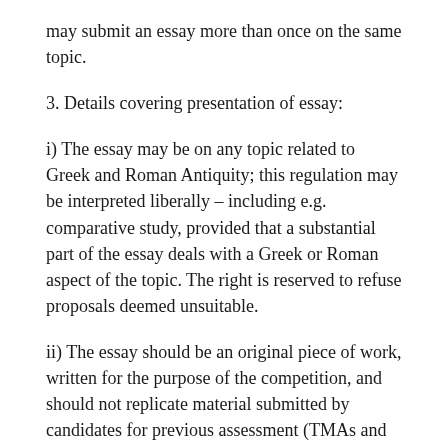may submit an essay more than once on the same topic.
3. Details covering presentation of essay:
i) The essay may be on any topic related to Greek and Roman Antiquity; this regulation may be interpreted liberally – including e.g. comparative study, provided that a substantial part of the essay deals with a Greek or Roman aspect of the topic. The right is reserved to refuse proposals deemed unsuitable.
ii) The essay should be an original piece of work, written for the purpose of the competition, and should not replicate material submitted by candidates for previous assessment (TMAs and EMAs) at the OU or elsewhere.
iii) A word-limit of 3000 words, including notes, should be observed (if appropriate to the essay subject, a limited amount of additional illustrated and/or diagrammatic material